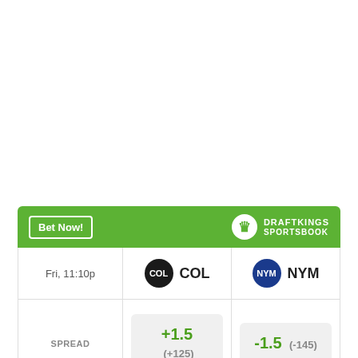|  | COL | NYM |
| --- | --- | --- |
| Fri, 11:10p | COL | NYM |
| SPREAD | +1.5  (+125) | -1.5  (-145) |
| MONEY LINE | +270 | -325 |